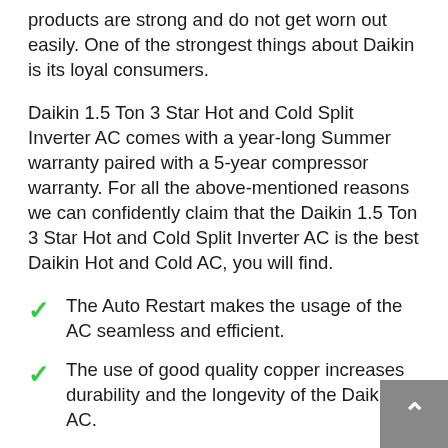products are strong and do not get worn out easily. One of the strongest things about Daikin is its loyal consumers.
Daikin 1.5 Ton 3 Star Hot and Cold Split Inverter AC comes with a year-long Summer warranty paired with a 5-year compressor warranty. For all the above-mentioned reasons we can confidently claim that the Daikin 1.5 Ton 3 Star Hot and Cold Split Inverter AC is the best Daikin Hot and Cold AC, you will find.
The Auto Restart makes the usage of the AC seamless and efficient.
The use of good quality copper increases durability and the longevity of the Daikin AC.